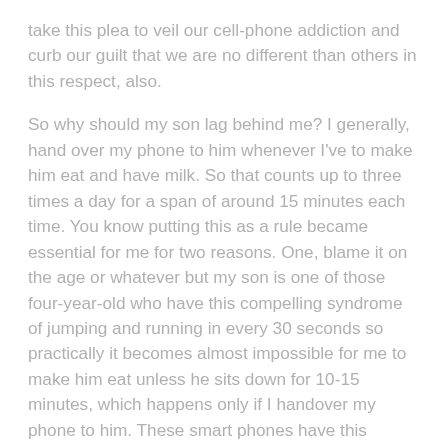take this plea to veil our cell-phone addiction and curb our guilt that we are no different than others in this respect, also.
So why should my son lag behind me? I generally, hand over my phone to him whenever I've to make him eat and have milk. So that counts up to three times a day for a span of around 15 minutes each time. You know putting this as a rule became essential for me for two reasons. One, blame it on the age or whatever but my son is one of those four-year-old who have this compelling syndrome of jumping and running in every 30 seconds so practically it becomes almost impossible for me to make him eat unless he sits down for 10-15 minutes, which happens only if I handover my phone to him. These smart phones have this magical spell that they cast on us; as soon as we switch it on we get glued to it. Two, by doing so I regulate the time of my son's cell phone usage. And it sends him a strong and strict message that he is not going to get the phone but for these given times because in any case kids these days spend time on phones, I –pads also because most of parents too want their kids to be well ahead of the trend.